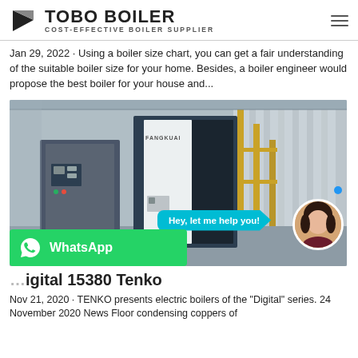TOBO BOILER — COST-EFFECTIVE BOILER SUPPLIER
Jan 29, 2022 · Using a boiler size chart, you can get a fair understanding of the suitable boiler size for your home. Besides, a boiler engineer would propose the best boiler for your house and...
[Figure (photo): Industrial boiler equipment (FANGKUAI brand) in a factory setting with piping, with a live chat bubble saying 'Hey, let me help you!' and a female avatar, plus a WhatsApp banner overlay.]
igital 15380 Tenko
Nov 21, 2020 · TENKO presents electric boilers of the "Digital" series. 24 November 2020 News Floor condensing coppers of